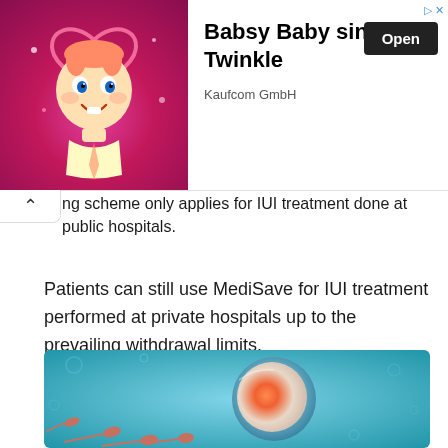[Figure (photo): Advertisement banner: animated baby cartoon character with halo on pink background, advertising 'Babsy Baby singing Twinkle' by Kaufcom GmbH with an Open button]
ng scheme only applies for IUI treatment done at public hospitals.
Patients can still use MediSave for IUI treatment performed at private hospitals up to the prevailing withdrawal limits.
[Figure (photo): Medical illustration of IUI (intrauterine insemination): microscopic view of sperm cells approaching a large egg cell against a blue background]